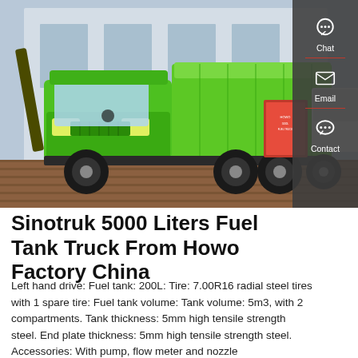[Figure (photo): Green Sinotruk Howo dump truck displayed outdoors on brick pavement next to a building, with a red informational sign nearby and a white truck partially visible in the background.]
Sinotruk 5000 Liters Fuel Tank Truck From Howo Factory China
Left hand drive: Fuel tank: 200L: Tire: 7.00R16 radial steel tires with 1 spare tire: Fuel tank volume: Tank volume: 5m3, with 2 compartments. Tank thickness: 5mm high tensile strength steel. End plate thickness: 5mm high tensile strength steel. Accessories: With pump, flow meter and nozzle